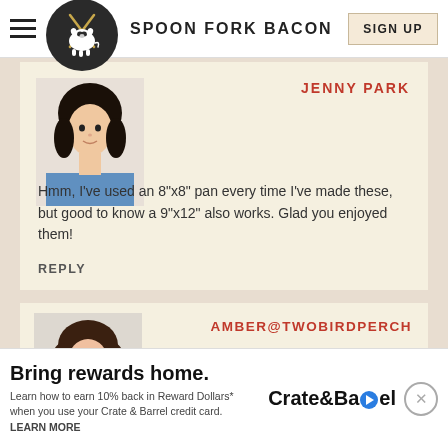SPOON FORK BACON | SIGN UP
JENNY PARK
Hmm, I've used an 8"x8" pan every time I've made these, but good to know a 9"x12" also works. Glad you enjoyed them!
REPLY
AMBER@TWOBIRDPERCH
Oo... but...
Bring rewards home. Learn how to earn 10% back in Reward Dollars* when you use your Crate & Barrel credit card. LEARN MORE | Crate&Barrel